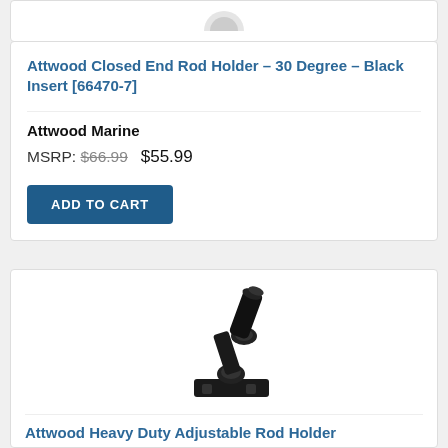[Figure (photo): Product image of Attwood Closed End Rod Holder at top of card (partially visible)]
Attwood Closed End Rod Holder – 30 Degree – Black Insert [66470-7]
Attwood Marine
MSRP: $66.99  $55.99
ADD TO CART
[Figure (photo): Photo of Attwood Heavy Duty Adjustable Rod Holder mounted unit, black plastic, showing adjustable swivel base]
Attwood Heavy Duty Adjustable Rod Holder